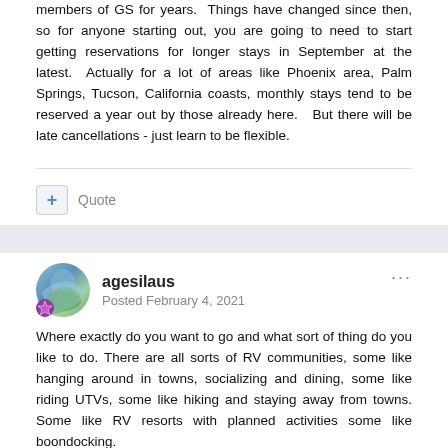members of GS for years.  Things have changed since then, so for anyone starting out, you are going to need to start getting reservations for longer stays in September at the latest.  Actually for a lot of areas like Phoenix area, Palm Springs, Tucson, California coasts, monthly stays tend to be reserved a year out by those already here.   But there will be late cancellations - just learn to be flexible.
Quote
agesilaus
Posted February 4, 2021
Where exactly do you want to go and what sort of thing do you like to do. There are all sorts of RV communities, some like hanging around in towns, socializing and dining, some like riding UTVs, some like hiking and staying away from towns. Some like RV resorts with planned activities some like boondocking.
Your choices will really make a big difference. Give it...